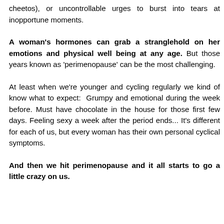cheetos), or uncontrollable urges to burst into tears at inopportune moments.
A woman's hormones can grab a stranglehold on her emotions and physical well being at any age. But those years known as 'perimenopause' can be the most challenging.
At least when we're younger and cycling regularly we kind of know what to expect: Grumpy and emotional during the week before. Must have chocolate in the house for those first few days. Feeling sexy a week after the period ends... It's different for each of us, but every woman has their own personal cyclical symptoms.
And then we hit perimenopause and it all starts to go a little crazy on us.